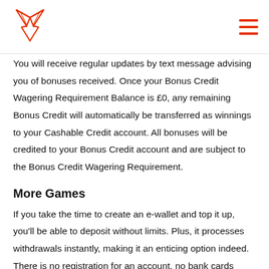[Fox logo] [hamburger menu]
You will receive regular updates by text message advising you of bonuses received. Once your Bonus Credit Wagering Requirement Balance is £0, any remaining Bonus Credit will automatically be transferred as winnings to your Cashable Credit account. All bonuses will be credited to your Bonus Credit account and are subject to the Bonus Credit Wagering Requirement.
More Games
If you take the time to create an e-wallet and top it up, you'll be able to deposit without limits. Plus, it processes withdrawals instantly, making it an enticing option indeed. There is no registration for an account, no bank cards involved and surely no fees to use it by the intermediary itself. A relatively new solution in the market is Fonix.